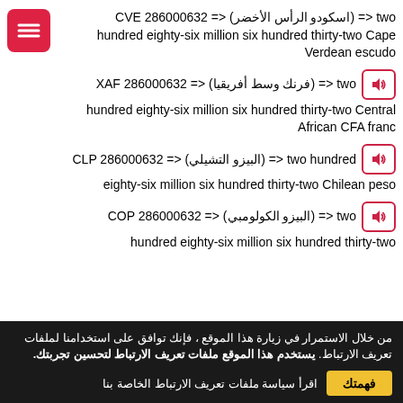two <= (اسكودو الرأس الأخضر) <= CVE 286000632 hundred eighty-six million six hundred thirty-two Cape Verdean escudo
two <= (فرنك وسط أفريقيا) <= XAF 286000632 hundred eighty-six million six hundred thirty-two Central African CFA franc
two hundred <= (البيزو التشيلي) <= CLP 286000632 eighty-six million six hundred thirty-two Chilean peso
two <= (البيزو الكولومبي) <= COP 286000632 hundred eighty-six million six hundred thirty-two
من خلال الاستمرار في زيارة هذا الموقع ، فإنك توافق على استخدامنا لملفات تعريف الارتباط. يستخدم هذا الموقع ملفات تعريف الارتباط لتحسين تجربتك. اقرأ سياسة ملفات تعريف الارتباط الخاصة بنا فهمتك